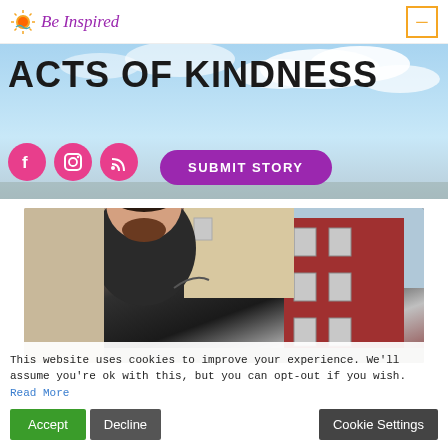Be Inspired
ACTS OF KINDNESS
[Figure (illustration): Social media icons: Facebook, Instagram, RSS feed, pink circles on sky background]
[Figure (photo): Man in black shirt outdoors in front of red brick building and beige siding]
This website uses cookies to improve your experience. We'll assume you're ok with this, but you can opt-out if you wish. Read More
Accept  Decline  Cookie Settings